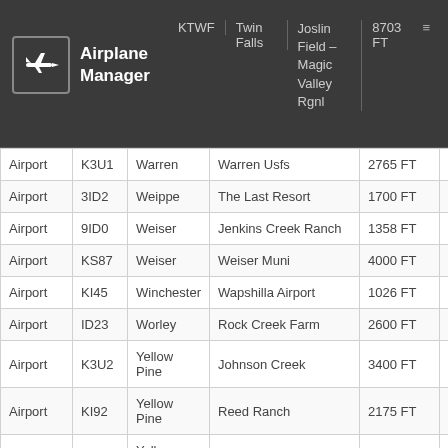Airplane Manager
| Type | Code | City | Name | Runway |
| --- | --- | --- | --- | --- |
|  | KTWF | Twin Falls | Joslin Field – Magic Valley Rgnl | 8703 FT |
| Airport | K3U1 | Warren | Warren Usfs | 2765 FT |
| Airport | 3ID2 | Weippe | The Last Resort | 1700 FT |
| Airport | 9ID0 | Weiser | Jenkins Creek Ranch | 1358 FT |
| Airport | KS87 | Weiser | Weiser Muni | 4000 FT |
| Airport | KI45 | Winchester | Wapshilla Airport | 1026 FT |
| Airport | ID23 | Worley | Rock Creek Farm | 2600 FT |
| Airport | K3U2 | Yellow Pine | Johnson Creek | 3400 FT |
| Airport | KI92 | Yellow Pine | Reed Ranch | 2175 FT |
| Airport | ID41 | Yellow Pine | Stibnite | 2450 FT |